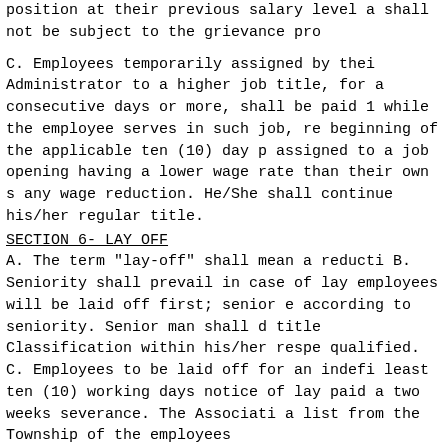position at their previous salary level and shall not be subject to the grievance pro...
C. Employees temporarily assigned by their Administrator to a higher job title, for a consecutive days or more, shall be paid 10 while the employee serves in such job, re beginning of the applicable ten (10) day p assigned to a job opening having a lower wage rate than their own s any wage reduction. He/She shall continue his/her regular title.
SECTION 6- LAY OFF
A. The term "lay-off" shall mean a reducti
B. Seniority shall prevail in case of lay employees will be laid off first; senior e according to seniority. Senior man shall d title Classification within his/her respe qualified.
C. Employees to be laid off for an indefi least ten (10) working days notice of lay paid a two weeks severance. The Associati a list from the Township of the employees